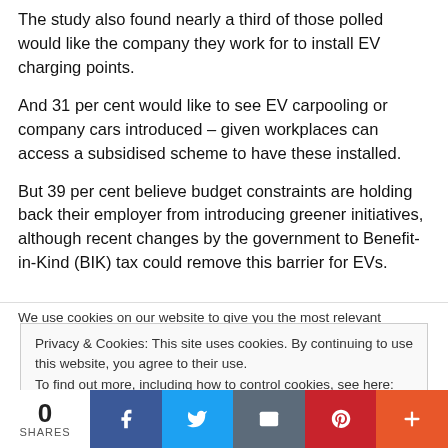The study also found nearly a third of those polled would like the company they work for to install EV charging points.
And 31 per cent would like to see EV carpooling or company cars introduced – given workplaces can access a subsidised scheme to have these installed.
But 39 per cent believe budget constraints are holding back their employer from introducing greener initiatives, although recent changes by the government to Benefit-in-Kind (BIK) tax could remove this barrier for EVs.
We use cookies on our website to give you the most relevant
Privacy & Cookies: This site uses cookies. By continuing to use this website, you agree to their use.
To find out more, including how to control cookies, see here: Cookie Policy